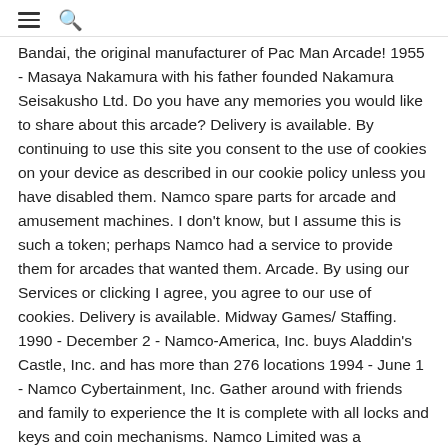≡ 🔍
Bandai, the original manufacturer of Pac Man Arcade! 1955 - Masaya Nakamura with his father founded Nakamura Seisakusho Ltd. Do you have any memories you would like to share about this arcade? Delivery is available. By continuing to use this site you consent to the use of cookies on your device as described in our cookie policy unless you have disabled them. Namco spare parts for arcade and amusement machines. I don't know, but I assume this is such a token; perhaps Namco had a service to provide them for arcades that wanted them. Arcade. By using our Services or clicking I agree, you agree to our use of cookies. Delivery is available. Midway Games/ Staffing. 1990 - December 2 - Namco-America, Inc. buys Aladdin's Castle, Inc. and has more than 276 locations 1994 - June 1 - Namco Cybertainment, Inc. Gather around with friends and family to experience the It is complete with all locks and keys and coin mechanisms. Namco Limited was a Japanese multinational video game developer and publisher headquartered in Ōta, Tokyo.It held several international branches, including Namco America in Santa